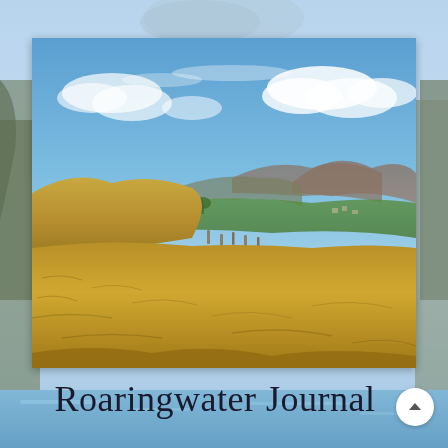[Figure (photo): Full-page background: blurred coastal and mountain landscape with blue sky and water, visible on left side (rocky cliff), right side (sea and mountain), and bottom (blue water with islands).]
[Figure (photo): Main center photograph: Irish landscape panorama showing golden-brown hillside with standing stones in the middle ground, green fields and village in the valley below, distant mountains under a partly cloudy blue sky. Likely the Beara Peninsula or similar Irish coastal upland.]
Roaringwater Journal